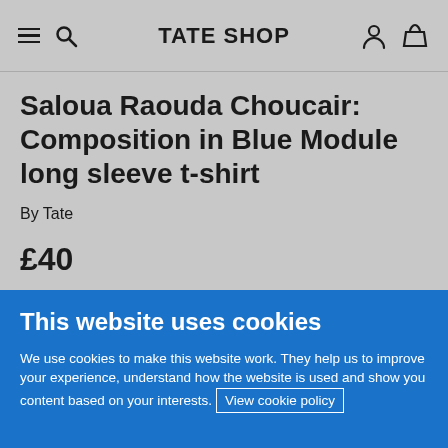TATE SHOP
Saloua Raouda Choucair: Composition in Blue Module long sleeve t-shirt
By Tate
£40
This website uses cookies
We use cookies to make this website work. They help us to improve your experience, understand how the website is used and show you content based on your interests. View cookie policy